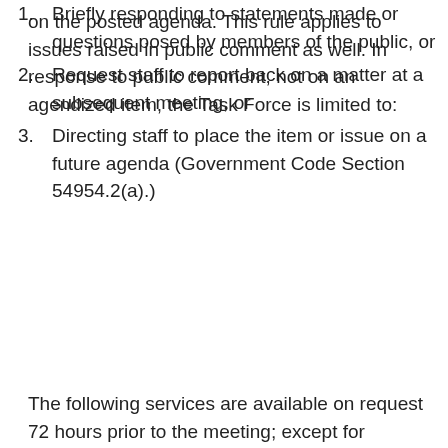on the posted agenda. This rule applies to issues raised in public comment as well. In response to public comment, not on an agendized item, the Task Force is limited to:
Briefly responding to statements made or questions posed by members of the public, or
Request staff to report back on a matter at a subsequent meeting, or
Directing staff to place the item or issue on a future agenda (Government Code Section 54954.2(a).)
The following services are available on request 72 hours prior to the meeting; except for Monday